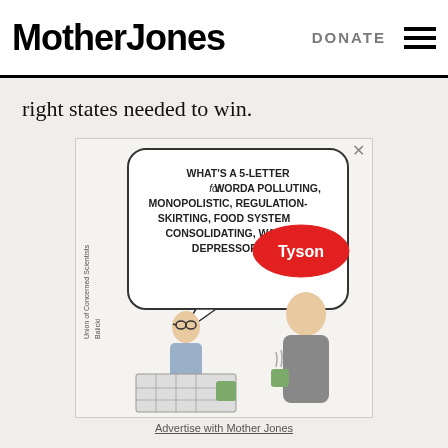Mother Jones  DONATE
right states needed to win.
[Figure (illustration): A cartoon ad showing a person doing a crossword puzzle asking 'What's a 5-letter word for a polluting, monopolistic, regulation-skirting, food system consolidating, wage depressor?' with the answer being 'Tyson' shown in a red oval speech bubble. A woman with a coffee cup stands nearby. Union of Concerned Scientists attribution visible.]
Advertise with Mother Jones